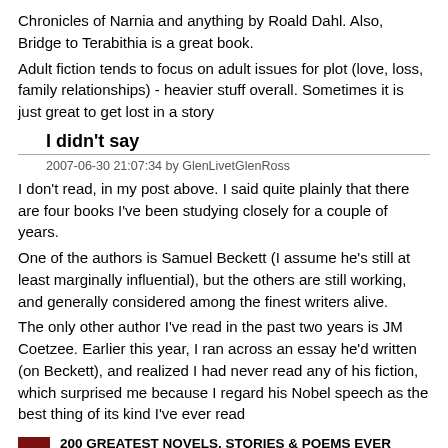Chronicles of Narnia and anything by Roald Dahl. Also, Bridge to Terabithia is a great book.
Adult fiction tends to focus on adult issues for plot (love, loss, family relationships) - heavier stuff overall. Sometimes it is just great to get lost in a story
I didn't say
2007-06-30 21:07:34 by GlenLivetGlenRoss
I don't read, in my post above. I said quite plainly that there are four books I've been studying closely for a couple of years.
One of the authors is Samuel Beckett (I assume he's still at least marginally influential), but the others are still working, and generally considered among the finest writers alive.
The only other author I've read in the past two years is JM Coetzee. Earlier this year, I ran across an essay he'd written (on Beckett), and realized I had never read any of his fiction, which surprised me because I regard his Nobel speech as the best thing of its kind I've ever read
[Figure (other): Small red book thumbnail image]
200 GREATEST NOVELS, STORIES & POEMS EVER WRITTEN: THE COMPLETE HARVARD CLASSICS LIBRARY SHELF OF FICTION (The Complete Works Collection) 200 Works! Jane ... Mark TWAIN Tolstoy Shakespeare Poe Balzac)
eBooks (The Complete Works Collection)